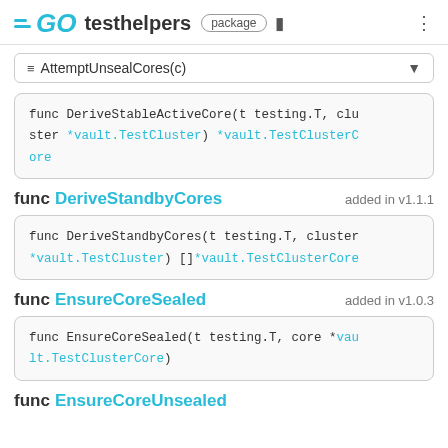GO testhelpers package
≡ AttemptUnsealCores(c)
func DeriveStableActiveCore(t testing.T, cluster *vault.TestCluster) *vault.TestClusterCore
func DeriveStandbyCores added in v1.1.1
func DeriveStandbyCores(t testing.T, cluster *vault.TestCluster) []*vault.TestClusterCore
func EnsureCoreSealed added in v1.0.3
func EnsureCoreSealed(t testing.T, core *vault.TestClusterCore)
func EnsureCoreUnsealed